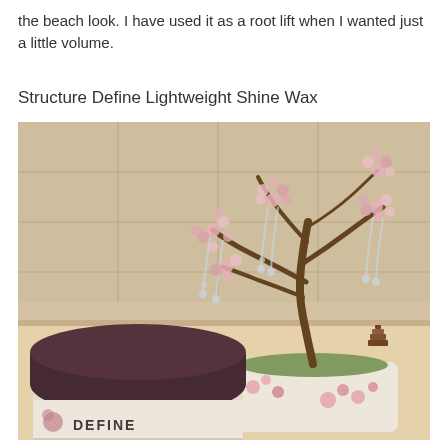the beach look. I have used it as a root lift when I wanted just a little volume.
Structure Define Lightweight Shine Wax
[Figure (photo): A decorative crystal/bead bonsai tree with pink flowers in a white floral ceramic pot, placed next to a jar of hair wax product labeled 'Define', photographed in a bathroom setting with warm tones.]